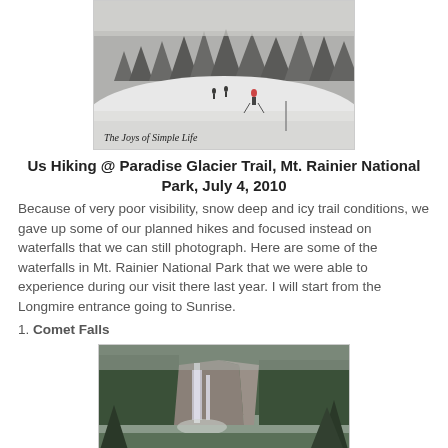[Figure (photo): Snow scene with hikers walking on a snowy trail surrounded by snow-covered evergreen trees in foggy/overcast conditions. Watermark reads 'The Joys of Simple Life'.]
Us Hiking @ Paradise Glacier Trail, Mt. Rainier National Park, July 4, 2010
Because of very poor visibility, snow deep and icy trail conditions, we gave up some of our planned hikes and focused instead on waterfalls that we can still photograph. Here are some of the waterfalls in Mt. Rainier National Park that we were able to experience during our visit there last year. I will start from the Longmire entrance going to Sunrise.
1. Comet Falls
[Figure (photo): A tall waterfall (Comet Falls) cascading down a rocky cliff face surrounded by dense evergreen forest in misty conditions.]